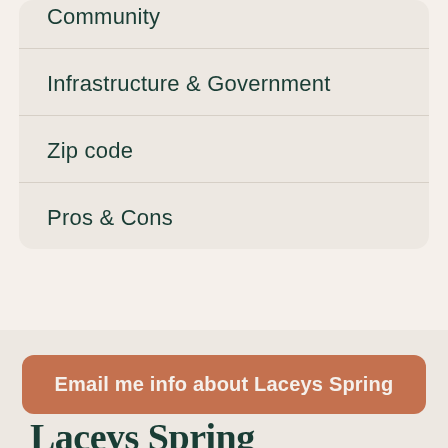Community
Infrastructure & Government
Zip code
Pros & Cons
Email me info about Laceys Spring